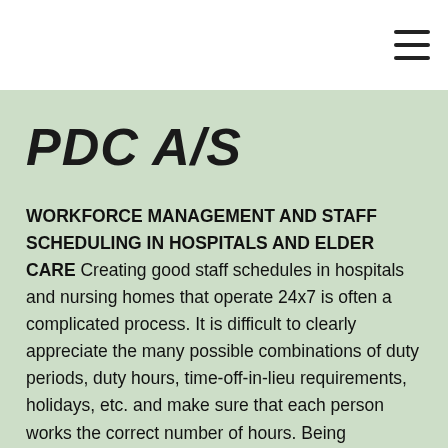PDC A/S
WORKFORCE MANAGEMENT AND STAFF SCHEDULING IN HOSPITALS AND ELDER CARE Creating good staff schedules in hospitals and nursing homes that operate 24x7 is often a complicated process. It is difficult to clearly appreciate the many possible combinations of duty periods, duty hours, time-off-in-lieu requirements, holidays, etc. and make sure that each person works the correct number of hours. Being compliant with external rules and agreements is not a trivial task and combining it with ensuring that the best resource coverage with...